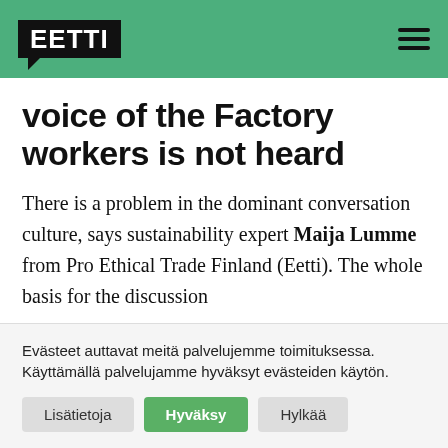EETTi
voice of the Factory workers is not heard
There is a problem in the dominant conversation culture, says sustainability expert Maija Lumme from Pro Ethical Trade Finland (Eetti). The whole basis for the discussion
Evästeet auttavat meitä palvelujemme toimituksessa. Käyttämällä palvelujamme hyväksyt evästeiden käytön.
Lisätietoja | Hyväksy | Hylkää